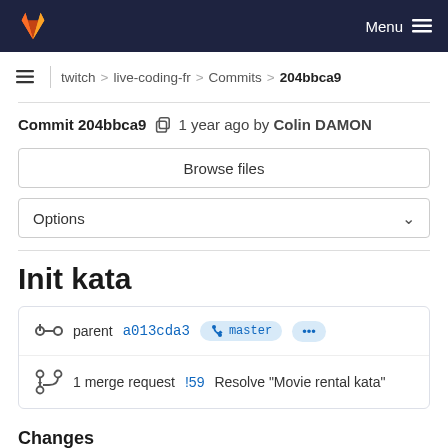GitLab — Menu
twitch > live-coding-fr > Commits > 204bbca9
Commit 204bbca9 [copy icon] 1 year ago by Colin DAMON
Browse files
Options
Init kata
parent a013cda3  master  ...
1 merge request !59 Resolve "Movie rental kata"
Changes 0